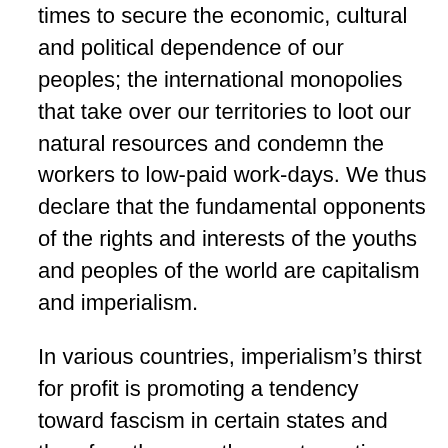times to secure the economic, cultural and political dependence of our peoples; the international monopolies that take over our territories to loot our natural resources and condemn the workers to low-paid work-days. We thus declare that the fundamental opponents of the rights and interests of the youths and peoples of the world are capitalism and imperialism.
In various countries, imperialism’s thirst for profit is promoting a tendency toward fascism in certain states and therefore they use the most reactionary violence, they promote the criminalization of social protest, terrorism, drug trafficking, para-militarism, and through these means of intimidation and oppression they are trying to contain the determined struggle that is being taken up in the different countries and these phenomena are being aggravated.